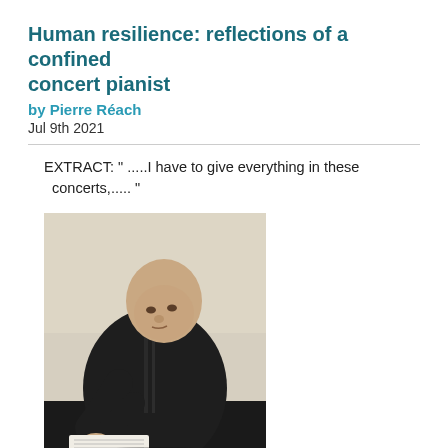Human resilience: reflections of a confined concert pianist
by Pierre Réach
Jul 9th 2021
EXTRACT: " .....I have to give everything in these concerts,..... "
[Figure (photo): A middle-aged bald man wearing a dark jacket, leaning forward and pointing at sheet music, photographed at a piano.]